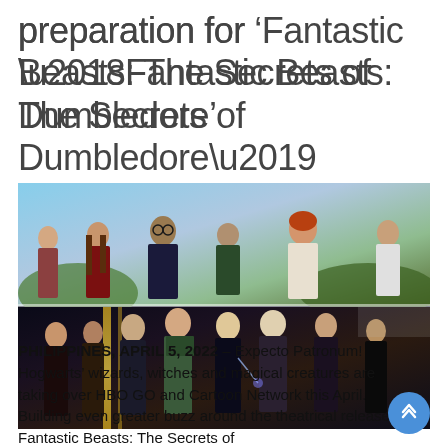preparation for ‘Fantastic Beasts: The Secrets of Dumbledore’
[Figure (photo): Collage of two photos: top shows Harry Potter, Hermione Granger, and Ron Weasley with other Hogwarts students; bottom shows the cast of Fantastic Beasts standing together in dark attire.]
PHILIPPINES, APRIL 5, 2022 – Expecto Patronum! Hogwarts’ wizards, witches and magical creatures are taking over HBO GO and Cartoon Network this April. Building even greater buzz around the theatrical release of Fantastic Beasts: The Secrets of